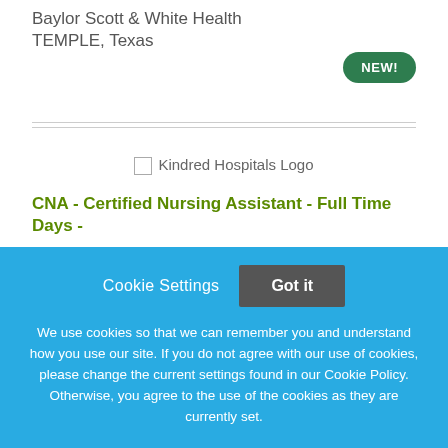Baylor Scott & White Health
TEMPLE, Texas
[Figure (logo): Kindred Hospitals Logo placeholder image]
CNA - Certified Nursing Assistant - Full Time Days -
Cookie Settings  Got it

We use cookies so that we can remember you and understand how you use our site. If you do not agree with our use of cookies, please change the current settings found in our Cookie Policy. Otherwise, you agree to the use of the cookies as they are currently set.